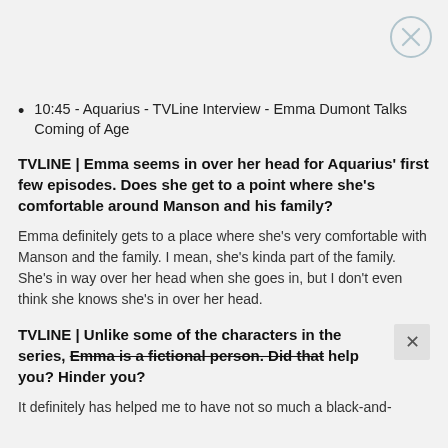[Figure (other): Close button (X) circle icon in top right corner]
10:45 - Aquarius - TVLine Interview - Emma Dumont Talks Coming of Age
TVLINE | Emma seems in over her head for Aquarius' first few episodes. Does she get to a point where she's comfortable around Manson and his family?
Emma definitely gets to a place where she's very comfortable with Manson and the family. I mean, she's kinda part of the family. She's in way over her head when she goes in, but I don't even think she knows she's in over her head.
TVLINE | Unlike some of the characters in the series, Emma is a fictional person. Did that help you? Hinder you?
It definitely has helped me to have not so much a black-and-